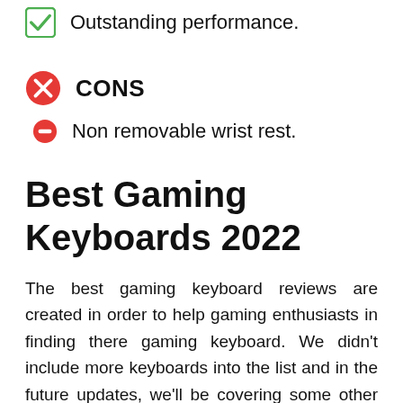Outstanding performance.
CONS
Non removable wrist rest.
Best Gaming Keyboards 2022
The best gaming keyboard reviews are created in order to help gaming enthusiasts in finding there gaming keyboard. We didn't include more keyboards into the list and in the future updates, we'll be covering some other gaming keyboards in the list.